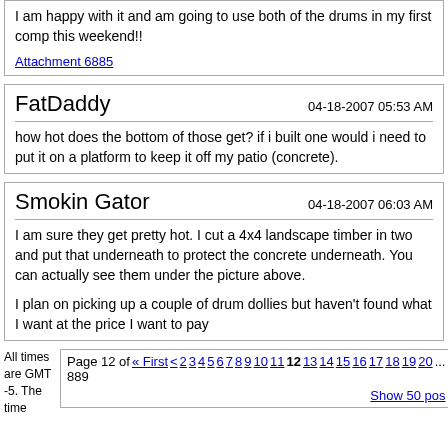I am happy with it and am going to use both of the drums in my first comp this weekend!!
Attachment 6885
FatDaddy
04-18-2007 05:53 AM
how hot does the bottom of those get? if i built one would i need to put it on a platform to keep it off my patio (concrete).
Smokin Gator
04-18-2007 06:03 AM
I am sure they get pretty hot. I cut a 4x4 landscape timber in two and put that underneath to protect the concrete underneath. You can actually see them under the picture above.

I plan on picking up a couple of drum dollies but haven't found what I want at the price I want to pay
All times are GMT -5. The time
Page 12 of 889
« First < 2 3 4 5 6 7 8 9 10 11 12 13 14 15 16 17 18 19 20 ...
Show 50 pos